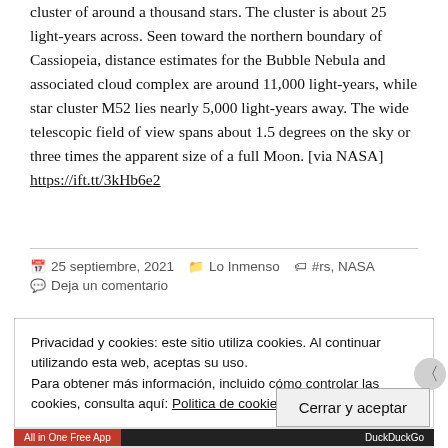cluster of around a thousand stars. The cluster is about 25 light-years across. Seen toward the northern boundary of Cassiopeia, distance estimates for the Bubble Nebula and associated cloud complex are around 11,000 light-years, while star cluster M52 lies nearly 5,000 light-years away. The wide telescopic field of view spans about 1.5 degrees on the sky or three times the apparent size of a full Moon. [via NASA] https://ift.tt/3kHb6e2
25 septiembre, 2021  Lo Inmenso  #rs, NASA  Deja un comentario
Privacidad y cookies: este sitio utiliza cookies. Al continuar utilizando esta web, aceptas su uso.
Para obtener más información, incluido cómo controlar las cookies, consulta aquí: Politica de cookies
Cerrar y aceptar